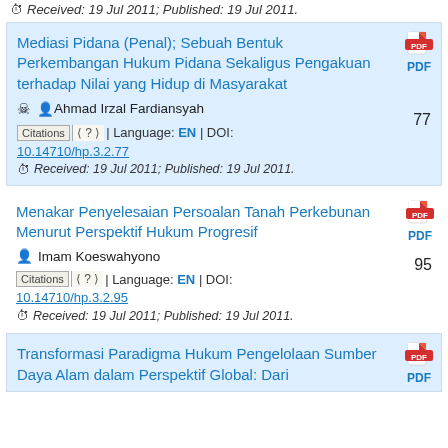Received: 19 Jul 2011; Published: 19 Jul 2011.
Mediasi Pidana (Penal); Sebuah Bentuk Perkembangan Hukum Pidana Sekaligus Pengakuan terhadap Nilai yang Hidup di Masyarakat
Ahmad Irzal Fardiansyah
Citations ? | Language: EN | DOI: 10.14710/hp.3.2.77
Received: 19 Jul 2011; Published: 19 Jul 2011.
Menakar Penyelesaian Persoalan Tanah Perkebunan Menurut Perspektif Hukum Progresif
Imam Koeswahyono
Citations ? | Language: EN | DOI: 10.14710/hp.3.2.95
Received: 19 Jul 2011; Published: 19 Jul 2011.
Transformasi Paradigma Hukum Pengelolaan Sumber Daya Alam dalam Perspektif Global: Dari